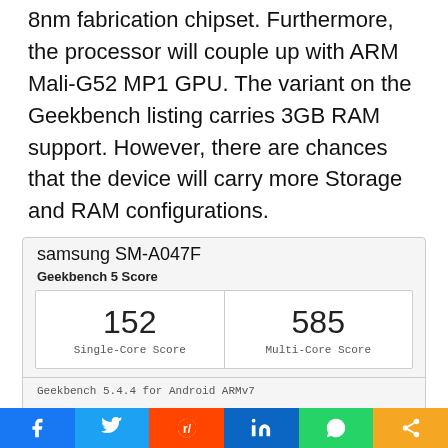8nm fabrication chipset. Furthermore, the processor will couple up with ARM Mali-G52 MP1 GPU. The variant on the Geekbench listing carries 3GB RAM support. However, there are chances that the device will carry more Storage and RAM configurations.
[Figure (screenshot): Geekbench 5 listing for samsung SM-A047F showing Single-Core Score of 152 and Multi-Core Score of 585, using Geekbench 5.4.4 for Android ARMv7, with Result Information section below.]
[Figure (infographic): Social media share bar with Facebook, Twitter, Reddit, LinkedIn, WhatsApp, and share buttons.]